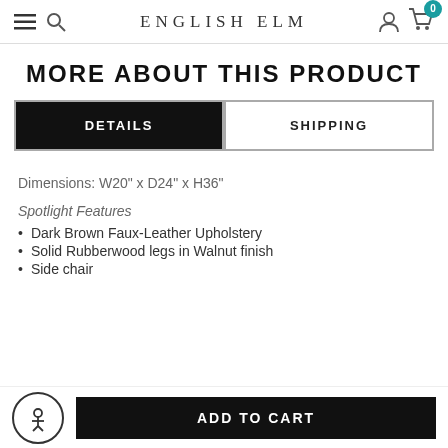ENGLISH ELM
MORE ABOUT THIS PRODUCT
DETAILS | SHIPPING
Dimensions: W20" x D24" x H36"
Spotlight Features
Dark Brown Faux-Leather Upholstery
Solid Rubberwood legs in Walnut finish
Side chair
ADD TO CART